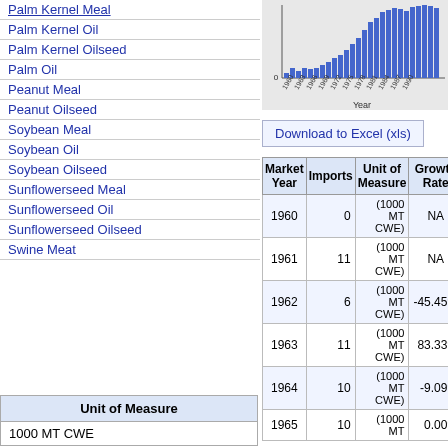Palm Kernel Meal
Palm Kernel Oil
Palm Kernel Oilseed
Palm Oil
Peanut Meal
Peanut Oilseed
Soybean Meal
Soybean Oil
Soybean Oilseed
Sunflowerseed Meal
Sunflowerseed Oil
Sunflowerseed Oilseed
Swine Meat
| Unit of Measure |
| --- |
| 1000 MT CWE |
[Figure (bar-chart): Bar chart of imports by year 1960-1990, x-axis labeled Year]
Download to Excel (xls)
| Market Year | Imports | Unit of Measure | Growth Rate |
| --- | --- | --- | --- |
| 1960 | 0 | (1000 MT CWE) | NA |
| 1961 | 11 | (1000 MT CWE) | NA |
| 1962 | 6 | (1000 MT CWE) | -45.45% |
| 1963 | 11 | (1000 MT CWE) | 83.33% |
| 1964 | 10 | (1000 MT CWE) | -9.09% |
| 1965 | 10 | (1000 MT CWE) | 0.00% |